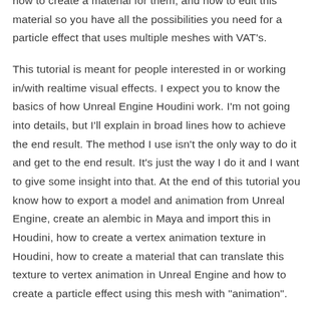how to create a material for them, and how to edit this material so you have all the possibilities you need for a particle effect that uses multiple meshes with VAT's.
This tutorial is meant for people interested in or working in/with realtime visual effects. I expect you to know the basics of how Unreal Engine Houdini work. I'm not going into details, but I'll explain in broad lines how to achieve the end result. The method I use isn't the only way to do it and get to the end result. It's just the way I do it and I want to give some insight into that. At the end of this tutorial you know how to export a model and animation from Unreal Engine, create an alembic in Maya and import this in Houdini, how to create a vertex animation texture in Houdini, how to create a material that can translate this texture to vertex animation in Unreal Engine and how to create a particle effect using this mesh with "animation".